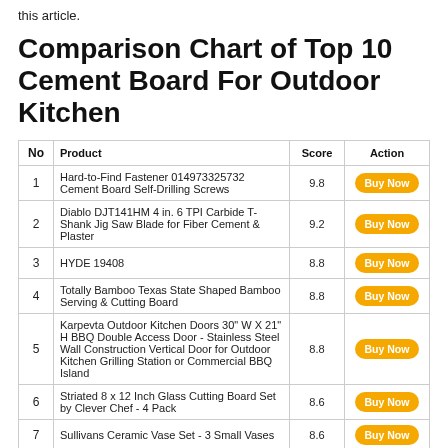this article.
Comparison Chart of Top 10 Cement Board For Outdoor Kitchen
| No | Product | Score | Action |
| --- | --- | --- | --- |
| 1 | Hard-to-Find Fastener 014973325732 Cement Board Self-Drilling Screws | 9.8 | Buy Now |
| 2 | Diablo DJT141HM 4 in. 6 TPI Carbide T-Shank Jig Saw Blade for Fiber Cement & Plaster | 9.2 | Buy Now |
| 3 | HYDE 19408 | 8.8 | Buy Now |
| 4 | Totally Bamboo Texas State Shaped Bamboo Serving & Cutting Board | 8.8 | Buy Now |
| 5 | Karpevta Outdoor Kitchen Doors 30" W X 21" H BBQ Double Access Door - Stainless Steel Wall Construction Vertical Door for Outdoor Kitchen Grilling Station or Commercial BBQ Island | 8.8 | Buy Now |
| 6 | Striated 8 x 12 Inch Glass Cutting Board Set by Clever Chef - 4 Pack | 8.6 | Buy Now |
| 7 | Sullivans Ceramic Vase Set - 3 Small Vases | 8.6 | Buy Now |